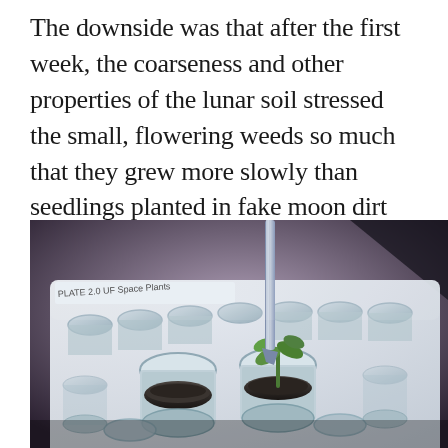The downside was that after the first week, the coarseness and other properties of the lunar soil stressed the small, flowering weeds so much that they grew more slowly than seedlings planted in fake moon dirt from Earth. Most of the moon plants ended up stunted.
[Figure (photo): Close-up photograph of a laboratory multi-well plate labeled 'PLATE 2.0' and 'UF Space Plants', showing small cylindrical wells containing dark lunar soil samples and one small green seedling plant, with a metal tweezer or scalpel tool inserted into one well.]